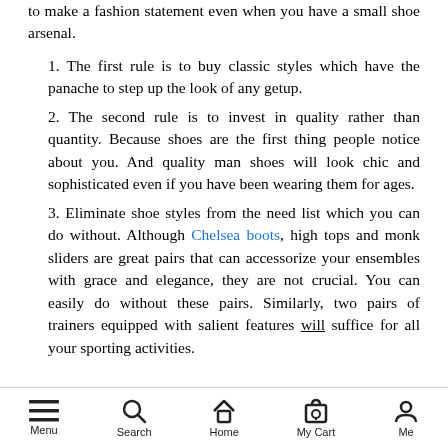to make a fashion statement even when you have a small shoe arsenal.
1. The first rule is to buy classic styles which have the panache to step up the look of any getup.
2. The second rule is to invest in quality rather than quantity. Because shoes are the first thing people notice about you. And quality man shoes will look chic and sophisticated even if you have been wearing them for ages.
3. Eliminate shoe styles from the need list which you can do without. Although Chelsea boots, high tops and monk sliders are great pairs that can accessorize your ensembles with grace and elegance, they are not crucial. You can easily do without these pairs. Similarly, two pairs of trainers equipped with salient features will suffice for all your sporting activities.
Menu  Search  Home  My Cart  Me